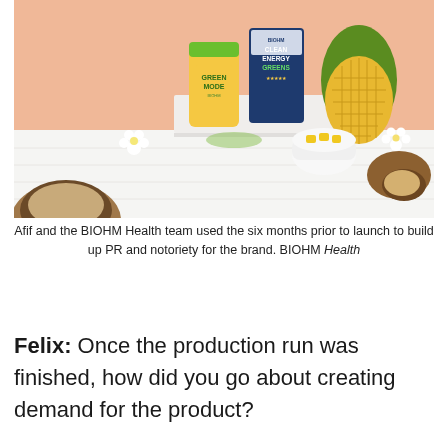[Figure (photo): Product photo showing BIOHM Health items: a yellow/green shaker bottle labeled GREEN MODE, a blue container of CLEAN ENERGY GREENS, a fresh pineapple, coconut halves, white flowers, a bowl of pineapple chunks, and scattered ingredients on a white wooden surface with a peach/salmon background.]
Afif and the BIOHM Health team used the six months prior to launch to build up PR and notoriety for the brand. BIOHM Health
Felix: Once the production run was finished, how did you go about creating demand for the product?